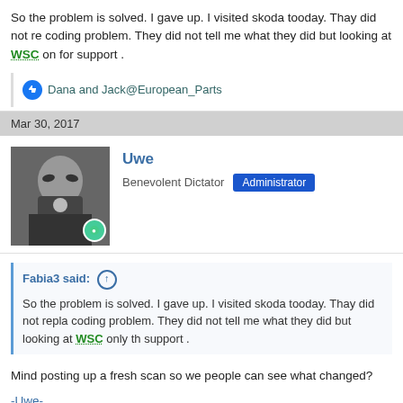So the problem is solved. I gave up. I visited skoda tooday. Thay did not re coding problem. They did not tell me what they did but looking at WSC on for support .
Dana and Jack@European_Parts
Mar 30, 2017
Uwe
Benevolent Dictator  Administrator
Fabia3 said:
So the problem is solved. I gave up. I visited skoda tooday. Thay did not repla coding problem. They did not tell me what they did but looking at WSC only th support .
Mind posting up a fresh scan so we people can see what changed?
-Uwe-
Mar 30, 2017
Jack@European_Parts